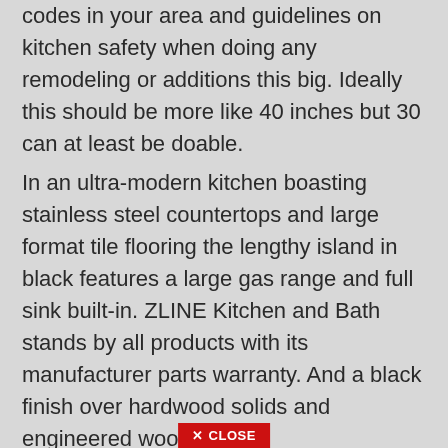codes in your area and guidelines on kitchen safety when doing any remodeling or additions this big. Ideally this should be more like 40 inches but 30 can at least be doable.
In an ultra-modern kitchen boasting stainless steel countertops and large format tile flooring the lengthy island in black features a large gas range and full sink built-in. ZLINE Kitchen and Bath stands by all products with its manufacturer parts warranty. And a black finish over hardwood solids and engineered wood.
You want to have a minimum of 30 inches in between your kitchen island and your counters or kitchen walls. Mar 21 2019 A kitchen island isnt only a functional cooking countertop its a part of dcor a storage space a seating area and it can fulfill almost any other function
✕ CLOSE